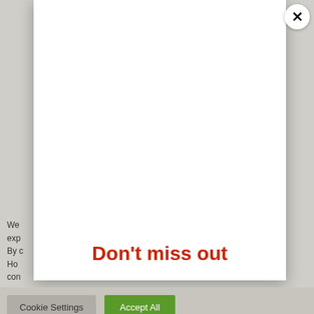[Figure (screenshot): A modal popup dialog overlaying a webpage. The modal is a white panel with a close (X) button in the top right corner. Inside the modal the text 'Don't miss out' is shown in red. The background page shows a partial cookie consent notice with 'Cookie Settings' and 'Accept All' buttons.]
We exp By c Ho con .s. .ies. ed
Don't miss out
Cookie Settings
Accept All